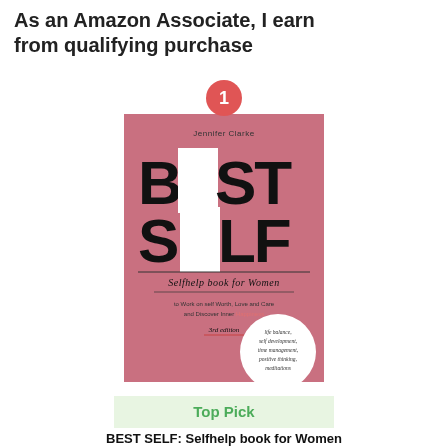As an Amazon Associate, I earn from qualifying purchase
[Figure (illustration): Book cover of 'Best Self: Selfhelp book for Women' by Jennifer Clarke, 3rd edition. Pink cover with bold black and white letters spelling BEST SELF, subtitle 'Selfhelp book for Women to Work on Self Worth, Love and Care and Discover Inner Happiness', with a white circle badge listing 'life balance, self development, time management, positive thinking, meditations'. A red circular badge with the number 1 appears above the book.]
Top Pick
BEST SELF: Selfhelp book for Women